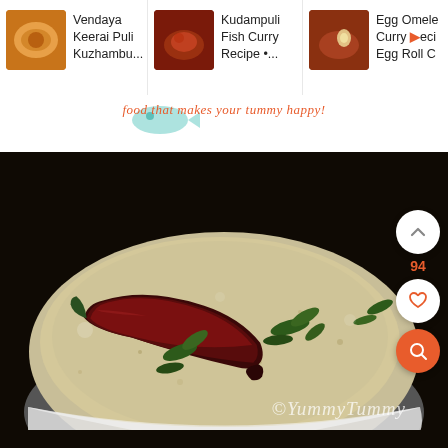[Figure (screenshot): Website navigation bar showing three recipe thumbnails: 'Vendaya Keerai Puli Kuzhambu...', 'Kudampuli Fish Curry Recipe •...', 'Egg Omele Curry Recipe • Egg Roll C']
food that makes your tummy happy!
[Figure (photo): Close-up photo of a white bowl containing a creamy curry (kuzhambu) with a dried red chili and curry leaves on top, with watermark '©YummyTummy'. Side UI buttons: up chevron, heart (94 likes), and orange search button.]